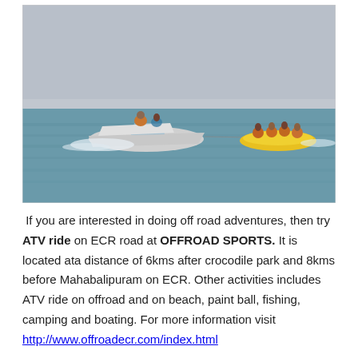[Figure (photo): A motorboat speeding across open sea water, towing a yellow inflatable banana boat with several people on it wearing life jackets. Hazy sky in the background.]
If you are interested in doing off road adventures, then try ATV ride on ECR road at OFFROAD SPORTS. It is located ata distance of 6kms after crocodile park and 8kms before Mahabalipuram on ECR. Other activities includes ATV ride on offroad and on beach, paint ball, fishing, camping and boating. For more information visit http://www.offroadecr.com/index.html